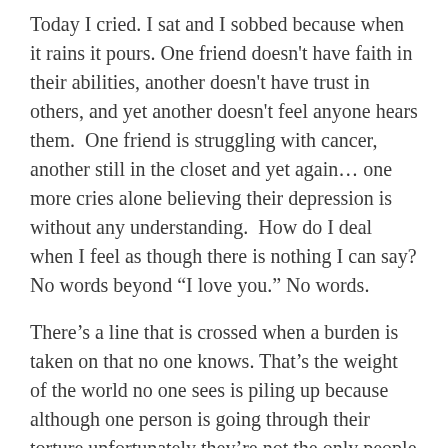Today I cried. I sat and I sobbed because when it rains it pours. One friend doesn't have faith in their abilities, another doesn't have trust in others, and yet another doesn't feel anyone hears them.  One friend is struggling with cancer, another still in the closet and yet again… one more cries alone believing their depression is without any understanding.  How do I deal when I feel as though there is nothing I can say? No words beyond “I love you.” No words.
There’s a line that is crossed when a burden is taken on that no one knows. That’s the weight of the world no one sees is piling up because although one person is going through their torture unfortunately they’re not the only people I know walking down the path of despair.  It’s unfortunate they don’t know of each other or their pain may increase, but where does that leave me? I am stuck in the middle trying to decipher